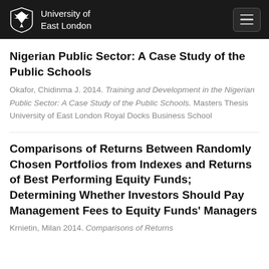University of East London
Nigerian Public Sector: A Case Study of the Public Schools
Okafor, Chidinma J. 2014. Training and Development in the Nigerian Public Sector: A Case Study of the Public Schools. Masters Thesis University of East London Royal Docks Business School
Comparisons of Returns Between Randomly Chosen Portfolios from Indexes and Returns of Best Performing Equity Funds; Determining Whether Investors Should Pay Management Fees to Equity Funds' Managers
Krnietin, Milan 2014. Comparisons of Returns...